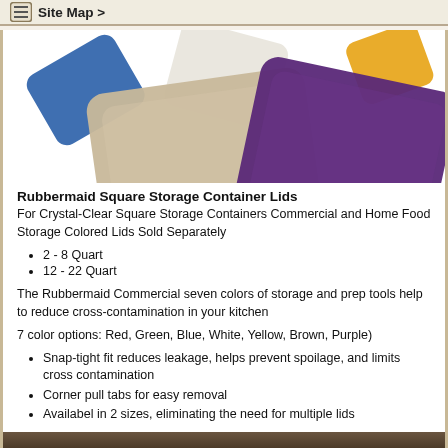≡ Site Map >
[Figure (photo): Product photo showing Rubbermaid square storage container lids in multiple colors: blue, white, beige/tan, purple, and yellow/orange, displayed at angles against a white background.]
Rubbermaid Square Storage Container Lids
For Crystal-Clear Square Storage Containers Commercial and Home Food Storage Colored Lids Sold Separately
2 - 8 Quart
12 - 22 Quart
The Rubbermaid Commercial seven colors of storage and prep tools help to reduce cross-contamination in your kitchen
7 color options: Red, Green, Blue, White, Yellow, Brown, Purple)
Snap-tight fit reduces leakage, helps prevent spoilage, and limits cross contamination
Corner pull tabs for easy removal
Availabel in 2 sizes, eliminating the need for multiple lids
[Figure (photo): Bottom partial image showing a dark product or surface.]